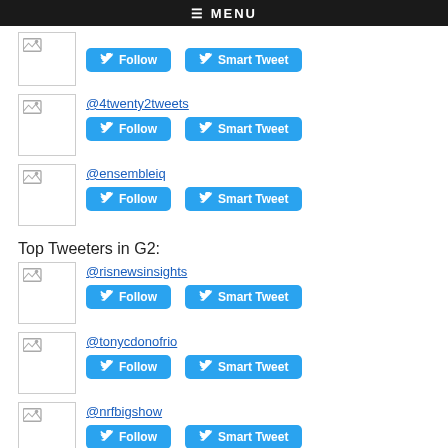≡ MENU
[Figure (other): Twitter Follow and Smart Tweet buttons for an account (top, partial)]
@4twenty2tweets
[Figure (other): Twitter Follow and Smart Tweet buttons for @4twenty2tweets]
@ensembleiq
[Figure (other): Twitter Follow and Smart Tweet buttons for @ensembleiq]
Top Tweeters in G2:
@risnewsinsights
[Figure (other): Twitter Follow and Smart Tweet buttons for @risnewsinsights]
@tonycdonofrio
[Figure (other): Twitter Follow and Smart Tweet buttons for @tonycdonofrio]
@nrfbigshow
[Figure (other): Twitter Follow and Smart Tweet buttons for @nrfbigshow]
@joeskorupa
[Figure (other): Twitter Follow and Smart Tweet buttons for @joeskorupa]
@retailaggregate